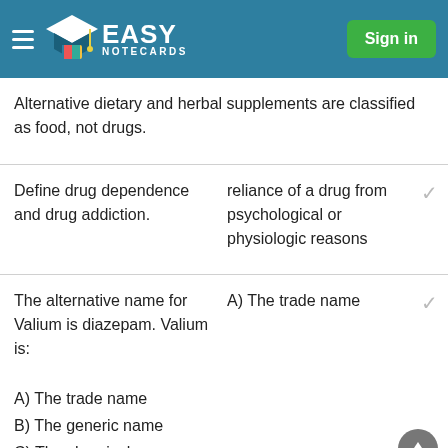Easy Notecards — Sign in
Alternative dietary and herbal supplements are classified as food, not drugs.
Define drug dependence and drug addiction. | reliance of a drug from psychological or physiologic reasons
The alternative name for Valium is diazepam. Valium is: A) The trade name B) The generic name C) The chemical name | A) The trade name